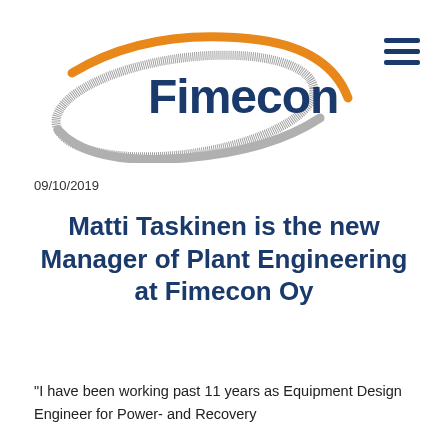[Figure (logo): Fimecon company logo with orange arc and grey arc forming an oval shape around the company name 'Fimecon' in dark blue text]
09/10/2019
Matti Taskinen is the new Manager of Plant Engineering at Fimecon Oy
"I have been working past 11 years as Equipment Design Engineer for Power- and Recovery